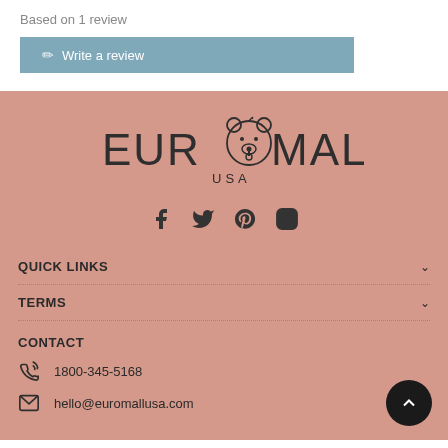Based on 1 review
Write a review
[Figure (logo): EuroMall USA logo with bear face icon]
[Figure (infographic): Social media icons: Facebook, Twitter, Pinterest, Instagram]
QUICK LINKS
TERMS
CONTACT
1800-345-5168
hello@euromallusa.com